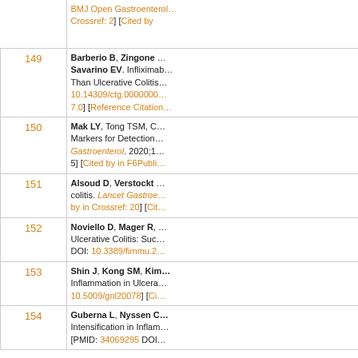| Number | Reference |
| --- | --- |
|  | BMJ Open Gastroenterol… Crossref: 2] [Cited by… |
| 149 | Barberio B, Zingone … Savarino EV. Infliximab… Than Ulcerative Colitis… 10.14309/ctg.0000000… 7.0] [Reference Citation… |
| 150 | Mak LY, Tong TSM, C… Markers for Detection… Gastroenterol. 2020;1… 5] [Cited by in F6Publi… |
| 151 | Alsoud D, Verstockt … colitis. Lancet Gastroe… by in Crossref: 20] [Cit… |
| 152 | Noviello D, Mager R,… Ulcerative Colitis: Suc… DOI: 10.3389/fimmu.2… |
| 153 | Shin J, Kong SM, Kim… Inflammation in Ulcera… 10.5009/gnl20078] [Ci… |
| 154 | Guberna L, Nyssen C… Intensification in Inflam… [PMID: 34069295 DOI… |